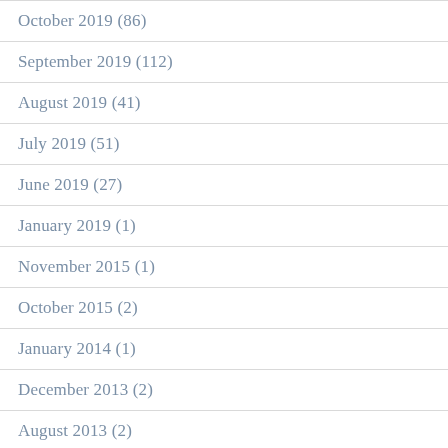October 2019 (86)
September 2019 (112)
August 2019 (41)
July 2019 (51)
June 2019 (27)
January 2019 (1)
November 2015 (1)
October 2015 (2)
January 2014 (1)
December 2013 (2)
August 2013 (2)